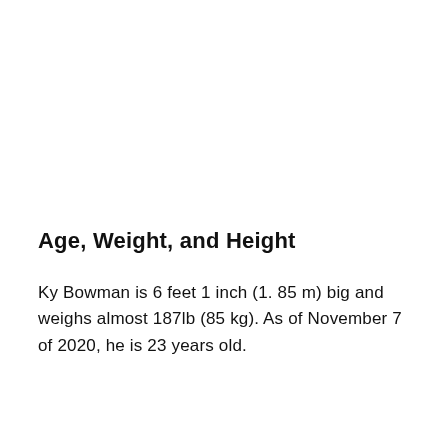Age, Weight, and Height
Ky Bowman is 6 feet 1 inch (1. 85 m) big and weighs almost 187lb (85 kg). As of November 7 of 2020, he is 23 years old.